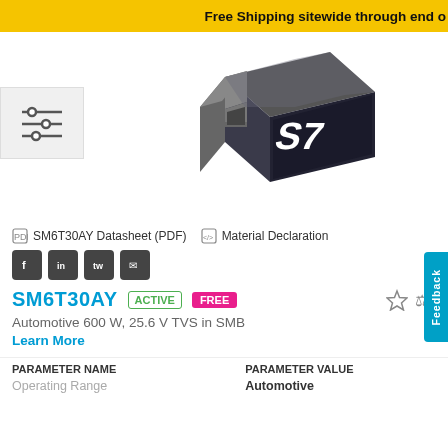Free Shipping sitewide through end o
[Figure (illustration): 3D render of SM6T30AY SMB package TVS diode component with STMicroelectronics logo]
[Figure (other): Filter/equalizer icon in gray box]
SM6T30AY Datasheet (PDF)   Material Declaration
Social share buttons: Facebook, LinkedIn, Twitter, Email
SM6T30AY   ACTIVE   FREE
Automotive 600 W, 25.6 V TVS in SMB
Learn More
| PARAMETER NAME | PARAMETER VALUE |
| --- | --- |
| Operating Range | Automotive |